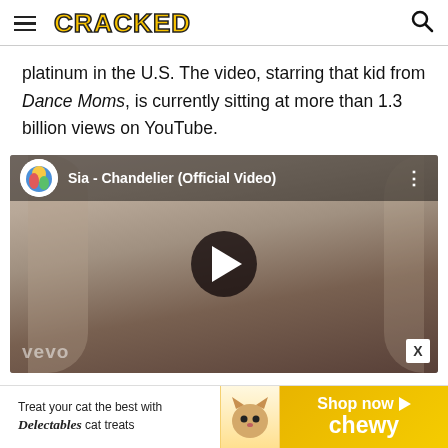CRACKED
platinum in the U.S. The video, starring that kid from Dance Moms, is currently sitting at more than 1.3 billion views on YouTube.
[Figure (screenshot): YouTube video embed showing 'Sia - Chandelier (Official Video)' with play button, VEVO watermark, and a performer with blonde wig covering face]
[Figure (other): Advertisement banner: 'Treat your cat the best with Delectables cat treats' with Chewy logo and 'Shop now' button]